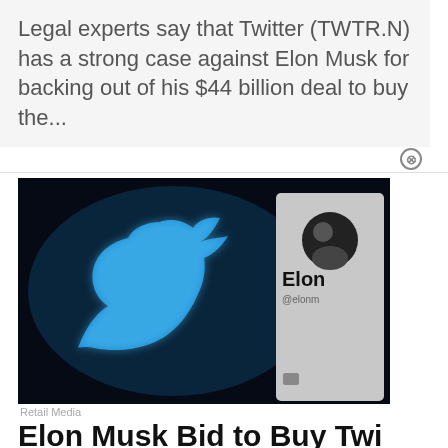Legal experts say that Twitter (TWTR.N) has a strong case against Elon Musk for backing out of his $44 billion deal to buy the...
[Figure (photo): Photo showing the Twitter bird logo glowing blue on a dark background, alongside a smartphone screen displaying Elon Musk's Twitter profile with his profile photo, name 'Elon' and handle '@elonm' visible.]
Retail Media
Elon Musk Bid to Buy Twi Why Did Musk Cancel $4 Deal?